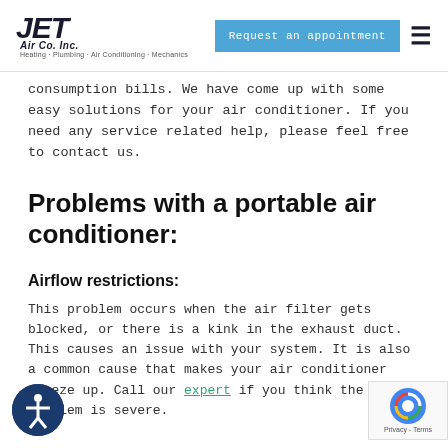JET Air Co. Inc. — Heating · Plumbing · Air Conditioning · Mechanics | Request an appointment
consumption bills. We have come up with some easy solutions for your air conditioner. If you need any service related help, please feel free to contact us.
Problems with a portable air conditioner:
Airflow restrictions:
This problem occurs when the air filter gets blocked, or there is a kink in the exhaust duct. This causes an issue with your system. It is also a common cause that makes your air conditioner freeze up. Call our expert if you think the problem is severe.